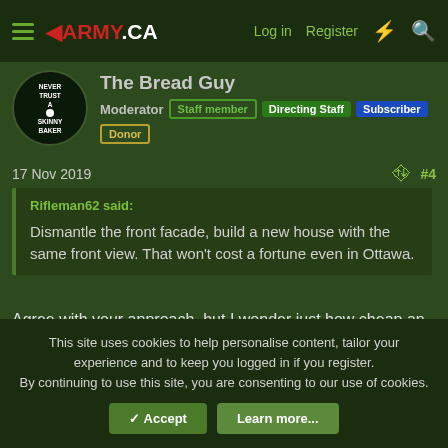Army.ca — Log in | Register
The Bread Guy
Moderator | Staff member | Directing Staff | Subscriber | Donor
17 Nov 2019  #4
Rifleman62 said: Dismantle the front facade, build a new house with the same front view. That won't cost a fortune even in Ottawa.
Agree with your approach, but I wonder just how cheap an official head-of-government residence would be.  We all know how guv'mint buildings can sometimes cost a titch more than similar kinda anomalous buildings.  Not just linked to what the current tenant wants, but what would go into a secure (in all senses) leader residence.  $84M sounds like a lot to renovate.
This site uses cookies to help personalise content, tailor your experience and to keep you logged in if you register.
By continuing to use this site, you are consenting to our use of cookies.
Accept | Learn more...